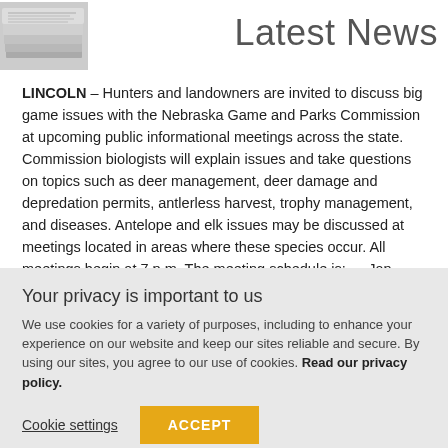[Figure (photo): Stack of newspapers photograph in grayscale]
Latest News
LINCOLN – Hunters and landowners are invited to discuss big game issues with the Nebraska Game and Parks Commission at upcoming public informational meetings across the state. Commission biologists will explain issues and take questions on topics such as deer management, deer damage and depredation permits, antlerless harvest, trophy management, and diseases. Antelope and elk issues may be discussed at meetings located in areas where these species occur. All meetings begin at 7 p.m. The meeting schedule is: — Jan. …
Your privacy is important to us
We use cookies for a variety of purposes, including to enhance your experience on our website and keep our sites reliable and secure. By using our sites, you agree to our use of cookies. Read our privacy policy.
Cookie settings   ACCEPT